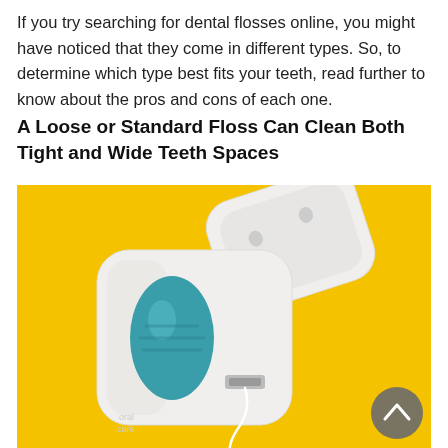If you try searching for dental flosses online, you might have noticed that they come in different types. So, to determine which type best fits your teeth, read further to know about the pros and cons of each one.
A Loose or Standard Floss Can Clean Both Tight and Wide Teeth Spaces
[Figure (photo): A white dental floss dispenser with a teal/blue oval label on a bright yellow background, with the lid open and a strand of floss visible. A grey circular scroll-up button overlays the bottom-right corner.]